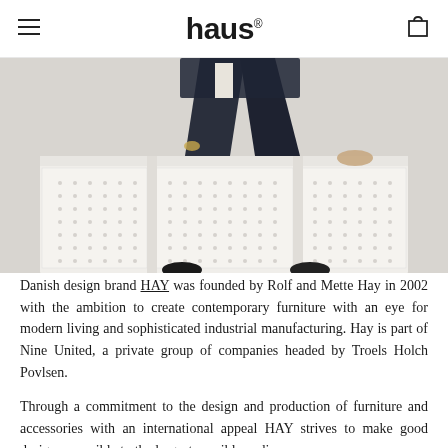haus
[Figure (photo): A person in dark suit trousers and formal shoes sitting on a white decorative radiator cover/cabinet with lattice panel design]
Danish design brand HAY was founded by Rolf and Mette Hay in 2002 with the ambition to create contemporary furniture with an eye for modern living and sophisticated industrial manufacturing. Hay is part of Nine United, a private group of companies headed by Troels Holch Povlsen.
Through a commitment to the design and production of furniture and accessories with an international appeal HAY strives to make good design accessible to the largest possible audience.
Inspired by architecture and the dynamics of fashion, combining durable quality products that provide added value for the user. HAY's continued vision is to create